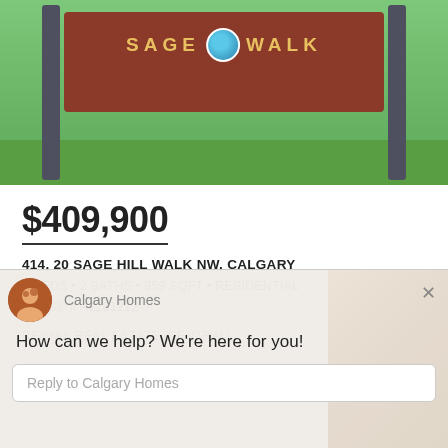[Figure (photo): Outdoor photo of Sage Walk community entrance sign on a brown post with green lawn background]
$409,900
414, 20 SAGE HILL WALK NW, CALGARY
2 BEDS • 2 BATHS • 959 SQFT • RESIDENTIAL • MLS® # A1251212
RE/MAX REAL ESTATE (CENTRAL)
Calgary Homes
How can we help? We're here for you!
Reply to Calgary Homes